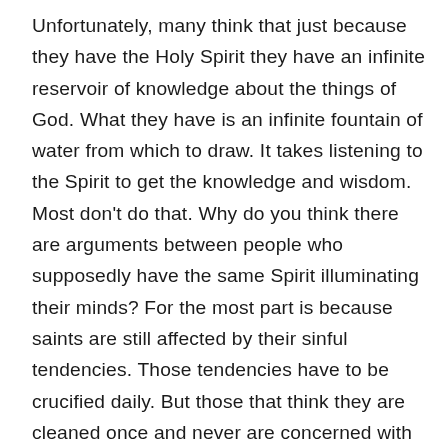Unfortunately, many think that just because they have the Holy Spirit they have an infinite reservoir of knowledge about the things of God. What they have is an infinite fountain of water from which to draw. It takes listening to the Spirit to get the knowledge and wisdom. Most don't do that. Why do you think there are arguments between people who supposedly have the same Spirit illuminating their minds? For the most part is because saints are still affected by their sinful tendencies. Those tendencies have to be crucified daily. But those that think they are cleaned once and never are concerned with regard to sin's effect in their lives unfortunately let the sin reign supreme. The sin of a true believer will not impact their salvation, but it does impact how they live their lives and the harmony of their relationships. For many, the Spirit may wonder why He is even there if no one is going to listen to Him. One of the